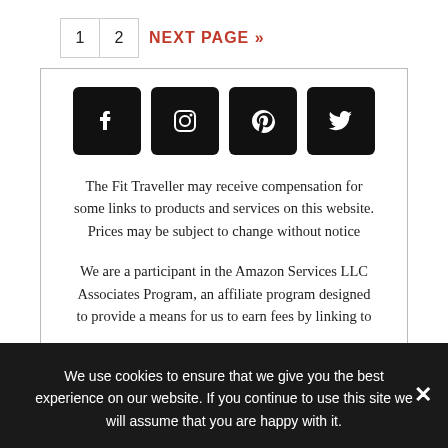1  2  NEXT PAGE »
[Figure (illustration): Four social media icons (Facebook, Instagram, Pinterest, Twitter) as white icons on black rounded-square backgrounds]
The Fit Traveller may receive compensation for some links to products and services on this website. Prices may be subject to change without notice
We are a participant in the Amazon Services LLC Associates Program, an affiliate program designed to provide a means for us to earn fees by linking to
We use cookies to ensure that we give you the best experience on our website. If you continue to use this site we will assume that you are happy with it.